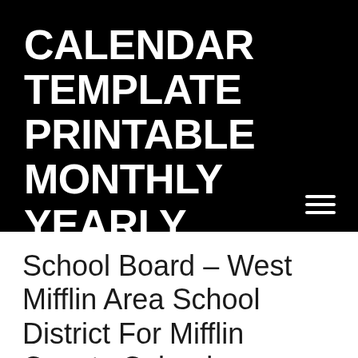CALENDAR TEMPLATE PRINTABLE MONTHLY YEARLY
School Board – West Mifflin Area School District For Mifflin County Calendar